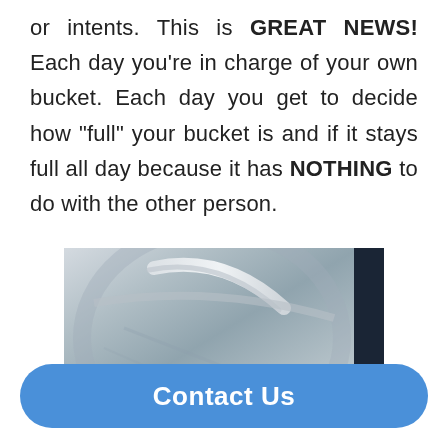or intents. This is GREAT NEWS! Each day you're in charge of your own bucket. Each day you get to decide how "full" your bucket is and if it stays full all day because it has NOTHING to do with the other person.
[Figure (photo): Close-up photo of a metallic bucket handle and rim, with a dark navy panel on the right side and a gray scroll-to-top button overlaid.]
Contact Us